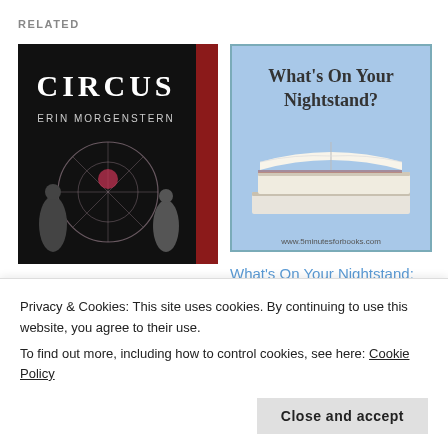RELATED
[Figure (photo): Book cover for 'The Night Circus' by Erin Morgenstern — dark cover with title CIRCUS and author name, silhouetted figures]
Reflecting on 2016: Reading
January 2, 2017
In "thoughts on reading"
[Figure (photo): What's On Your Nightstand? promotional image showing stacked books with an open book on top, www.5minutesforbooks.com]
What's On Your Nightstand: August
Privacy & Cookies: This site uses cookies. By continuing to use this website, you agree to their use.
To find out more, including how to control cookies, see here: Cookie Policy